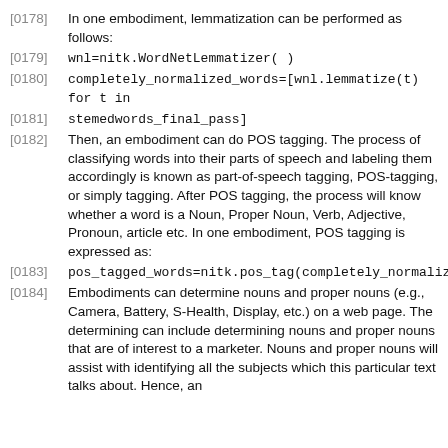[0178] In one embodiment, lemmatization can be performed as follows:
[0179] wnl=nitk.WordNetLemmatizer( )
[0180] completely_normalized_words=[wnl.lemmatize(t) for t in
[0181] stemedwords_final_pass]
[0182] Then, an embodiment can do POS tagging. The process of classifying words into their parts of speech and labeling them accordingly is known as part-of-speech tagging, POS-tagging, or simply tagging. After POS tagging, the process will know whether a word is a Noun, Proper Noun, Verb, Adjective, Pronoun, article etc. In one embodiment, POS tagging is expressed as:
[0183] pos_tagged_words=nitk.pos_tag(completely_normalized_words)
[0184] Embodiments can determine nouns and proper nouns (e.g., Camera, Battery, S-Health, Display, etc.) on a web page. The determining can include determining nouns and proper nouns that are of interest to a marketer. Nouns and proper nouns will assist with identifying all the subjects which this particular text talks about. Hence, an